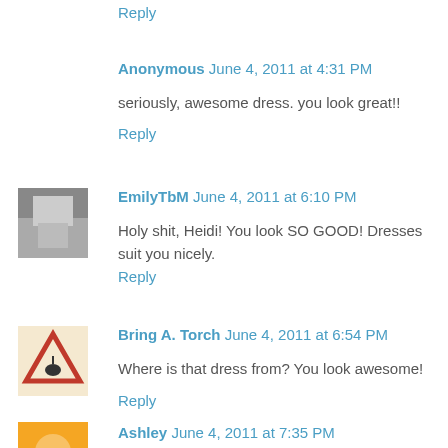Reply
Anonymous June 4, 2011 at 4:31 PM
seriously, awesome dress. you look great!!
Reply
EmilyTbM June 4, 2011 at 6:10 PM
Holy shit, Heidi! You look SO GOOD! Dresses suit you nicely.
Reply
Bring A. Torch June 4, 2011 at 6:54 PM
Where is that dress from? You look awesome!
Reply
Ashley June 4, 2011 at 7:35 PM